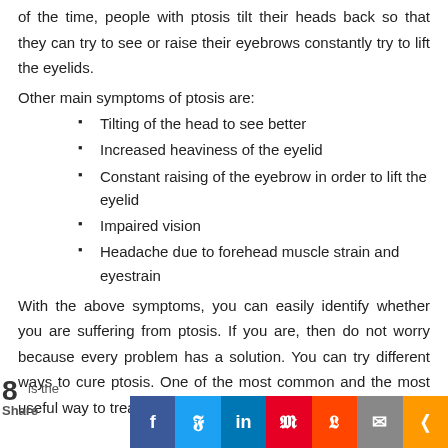of the time, people with ptosis tilt their heads back so that they can try to see or raise their eyebrows constantly try to lift the eyelids.
Other main symptoms of ptosis are:
Tilting of the head to see better
Increased heaviness of the eyelid
Constant raising of the eyebrow in order to lift the eyelid
Impaired vision
Headache due to forehead muscle strain and eyestrain
With the above symptoms, you can easily identify whether you are suffering from ptosis. If you are, then do not worry because every problem has a solution. You can try different ways to cure ptosis. One of the most common and the most useful way to treat ptosis